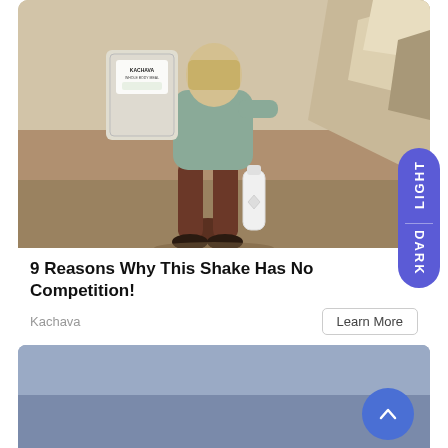[Figure (photo): A woman crouching outdoors on rocky terrain, holding a large Kachava branded bag in one hand and a white water bottle in the other. Rocky desert landscape in background.]
9 Reasons Why This Shake Has No Competition!
Kachava
[Figure (photo): Partially visible second card below with a blue-gray background, and a circular scroll-up button overlay.]